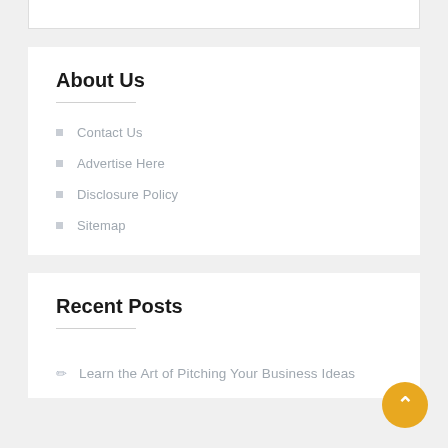About Us
Contact Us
Advertise Here
Disclosure Policy
Sitemap
Recent Posts
Learn the Art of Pitching Your Business Ideas